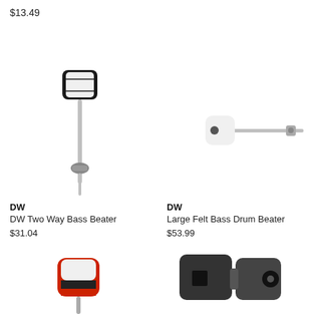$13.49
[Figure (photo): DW Two Way Bass Beater - black and white rectangular beater head on a metal shaft with clamp]
DW
DW Two Way Bass Beater
$31.04
[Figure (photo): Large Felt Bass Drum Beater - round white felt head on a horizontal metal rod with small hardware piece]
DW
Large Felt Bass Drum Beater
$53.99
[Figure (photo): Partial view of a small bass drum beater - red, white and black color, bottom portion visible]
[Figure (photo): Partial view of a dark gray/black bass drum beater clamp mechanism with circular hole]